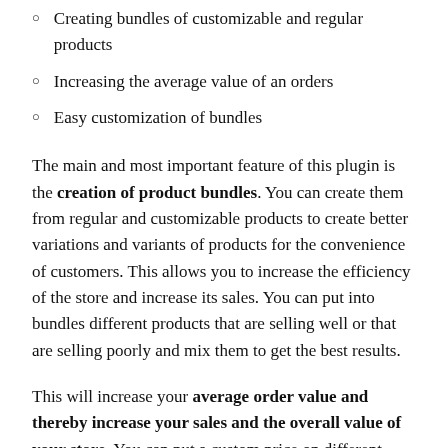Creating bundles of customizable and regular products
Increasing the average value of an orders
Easy customization of bundles
The main and most important feature of this plugin is the creation of product bundles. You can create them from regular and customizable products to create better variations and variants of products for the convenience of customers. This allows you to increase the efficiency of the store and increase its sales. You can put into bundles different products that are selling well or that are selling poorly and mix them to get the best results.
This will increase your average order value and thereby increase your sales and the overall value of your store. You can put a custom price on different bundles to attract customers